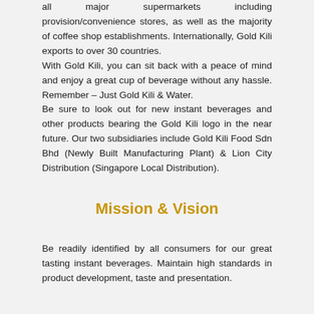all major supermarkets including provision/convenience stores, as well as the majority of coffee shop establishments. Internationally, Gold Kili exports to over 30 countries. With Gold Kili, you can sit back with a peace of mind and enjoy a great cup of beverage without any hassle. Remember – Just Gold Kili & Water. Be sure to look out for new instant beverages and other products bearing the Gold Kili logo in the near future. Our two subsidiaries include Gold Kili Food Sdn Bhd (Newly Built Manufacturing Plant) & Lion City Distribution (Singapore Local Distribution).
Mission & Vision
Be readily identified by all consumers for our great tasting instant beverages. Maintain high standards in product development, taste and presentation.